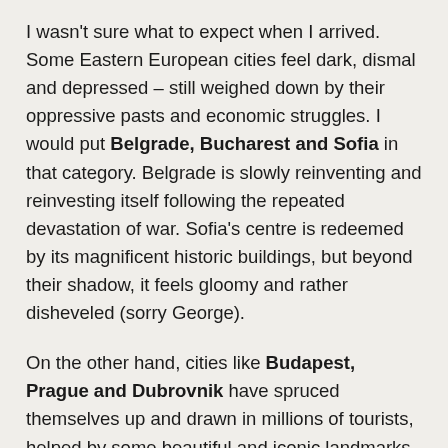I wasn't sure what to expect when I arrived. Some Eastern European cities feel dark, dismal and depressed – still weighed down by their oppressive pasts and economic struggles. I would put Belgrade, Bucharest and Sofia in that category. Belgrade is slowly reinventing and reinvesting itself following the repeated devastation of war. Sofia's centre is redeemed by its magnificent historic buildings, but beyond their shadow, it feels gloomy and rather disheveled (sorry George).
On the other hand, cities like Budapest, Prague and Dubrovnik have spruced themselves up and drawn in millions of tourists, helped by some beautiful and iconic landmarks and scenery. Dubrovnic (Croatia) – walls, pavements, cafes and seaview – is stunning. Budapest